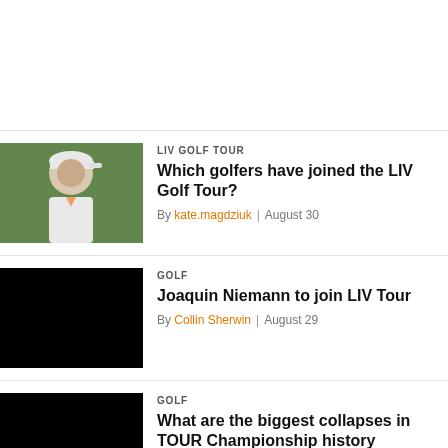[Figure (photo): Golfer wearing Nike cap and white shirt, blurred green background]
LIV GOLF TOUR
Which golfers have joined the LIV Golf Tour?
By kate.magdziuk | August 30
[Figure (photo): Black image placeholder]
GOLF
Joaquin Niemann to join LIV Tour
By Collin Sherwin | August 29
[Figure (photo): Black image placeholder]
GOLF
What are the biggest collapses in TOUR Championship history
By grace.mcdermott | August 29